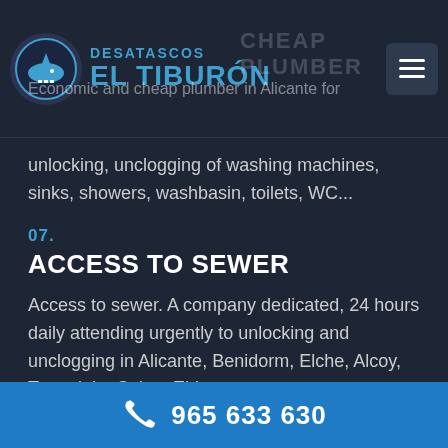DESATASCOS EL TIBURÓN — CHEAP PLUMBER — Economic and cheap plumber in Alicante for
unlocking, unclogging of washing machines, sinks, showers, washbasin, toilets, WC...
07. ACCESS TO SEWER
Access to sewer. A company dedicated, 24 hours daily attending urgently to unlocking and unclogging in Alicante, Benidorm, Elche, Alcoy, Torrevieja, Calpe, Elda...
08. URGENT INDUSTRIAL CLEANING
965 633 630